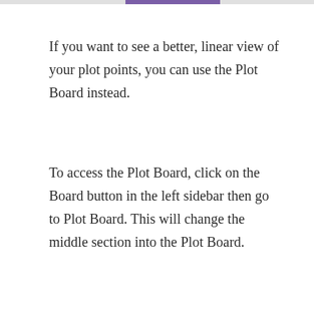If you want to see a better, linear view of your plot points, you can use the Plot Board instead.
To access the Plot Board, click on the Board button in the left sidebar then go to Plot Board. This will change the middle section into the Plot Board.